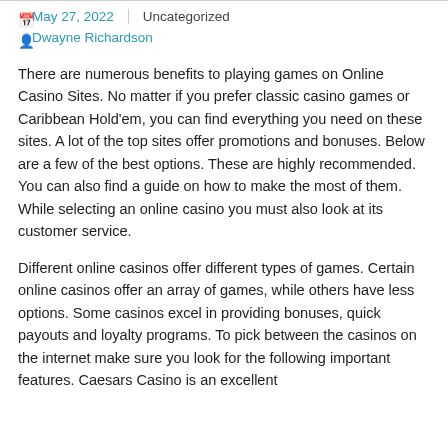📅May 27, 2022 | Uncategorized | 👤Dwayne Richardson |
There are numerous benefits to playing games on Online Casino Sites. No matter if you prefer classic casino games or Caribbean Hold'em, you can find everything you need on these sites. A lot of the top sites offer promotions and bonuses. Below are a few of the best options. These are highly recommended. You can also find a guide on how to make the most of them. While selecting an online casino you must also look at its customer service.
Different online casinos offer different types of games. Certain online casinos offer an array of games, while others have less options. Some casinos excel in providing bonuses, quick payouts and loyalty programs. To pick between the casinos on the internet make sure you look for the following important features. Caesars Casino is an excellent